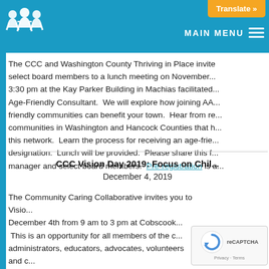CCC logo | MAIN MENU | Translate »
The CCC and Washington County Thriving in Place invite select board members to a lunch meeting on November... 3:30 pm at the Kay Parker Building in Machias facilitated... Age-Friendly Consultant. We will explore how joining AA... friendly communities can benefit your town. Hear from re... communities in Washington and Hancock Counties that h... this network. Learn the process for receiving an age-frie... designation. Lunch will be provided. Please share this f... manager and select board members. Pre-registration is a...
CCC Vision Day 2019: Focus on Chil...
December 4, 2019
The Community Caring Collaborative invites you to Visio... December 4th from 9 am to 3 pm at Cobscook... This is an opportunity for all members of the c... administrators, educators, advocates, volunteers and c...